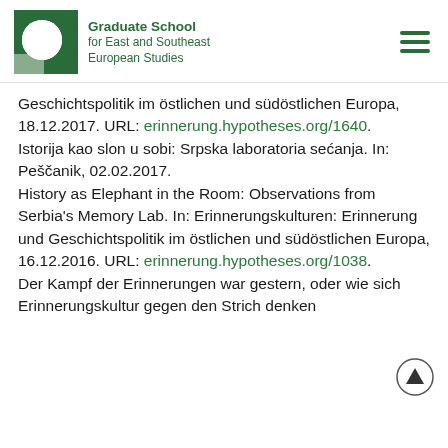Graduate School for East and Southeast European Studies
Geschichtspolitik im östlichen und südöstlichen Europa, 18.12.2017. URL: erinnerung.hypotheses.org/1640.
Istorija kao slon u sobi: Srpska laboratoria sećanja. In: Peščanik, 02.02.2017.
History as Elephant in the Room: Observations from Serbia's Memory Lab. In: Erinnerungskulturen: Erinnerung und Geschichtspolitik im östlichen und südöstlichen Europa, 16.12.2016. URL: erinnerung.hypotheses.org/1038.
Der Kampf der Erinnerungen war gestern, oder wie sich Erinnerungskultur gegen den Strich denken